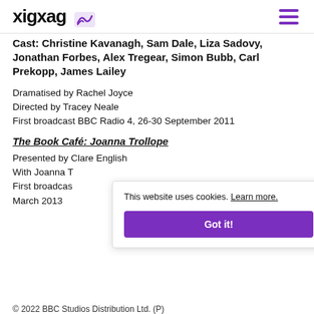xigxag [logo]
Cast: Christine Kavanagh, Sam Dale, Liza Sadovy, Jonathan Forbes, Alex Tregear, Simon Bubb, Carl Prekopp, James Lailey
Dramatised by Rachel Joyce
Directed by Tracey Neale
First broadcast BBC Radio 4, 26-30 September 2011
The Book Café: Joanna Trollope
Presented by Clare English
With Joanna T[rollope]
First broadcas[t BBC Radio 4,]
March 2013
This website uses cookies. Learn more.
Got it!
© 2022 BBC Studios Distribution Ltd. (P)